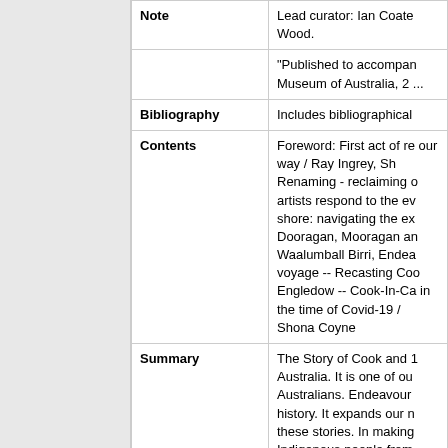| Field | Value |
| --- | --- |
| Note | Lead curator: Ian Coate Wood.

"Published to accompany Museum of Australia, 2 ... |
| Bibliography | Includes bibliographical ... |
| Contents | Foreword: First act of re our way / Ray Ingrey, Sh Renaming - reclaiming o artists respond to the ev shore: navigating the ex Dooragan, Mooragan an Waalumball Birri, Endea voyage -- Recasting Coo Engledow -- Cook-In-Ca in the time of Covid-19 / Shona Coyne |
| Summary | The Story of Cook and 1 Australia. It is one of ou Australians. Endeavour history. It expands our n these stories. In making Indigenous people from This richly illustrated pub Angus Trumble, Sarah B understandings of the e |